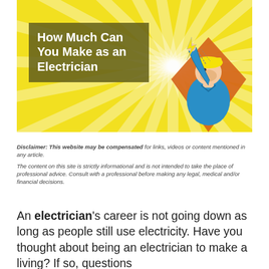[Figure (illustration): Hero banner with yellow sunburst background and cartoon electrician holding a lightning bolt, wearing blue shirt and yellow hard hat]
How Much Can You Make as an Electrician
Disclaimer: This website may be compensated for links, videos or content mentioned in any article.
The content on this site is strictly informational and is not intended to take the place of professional advice. Consult with a professional before making any legal, medical and/or financial decisions.
An electrician's career is not going down as long as people still use electricity. Have you thought about being an electrician to make a living? If so, questions